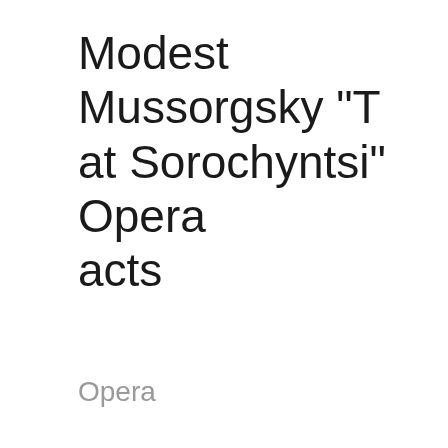Modest Mussorgsky "T... at Sorochyntsi" Opera ... acts
Opera
[Figure (photo): Ballet dancers in white tutus performing on stage with a dark blue background, overlaid with event date and time information: 27 June 2022, 19:00]